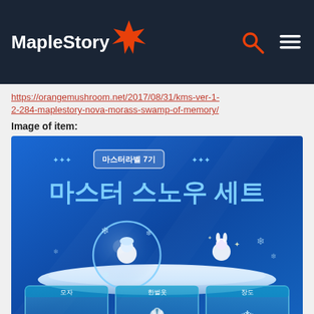MapleStory
https://orangemushroom.net/2017/08/31/kms-ver-1-2-284-maplestory-nova-morass-swamp-of-memory/
Image of item:
[Figure (illustration): MapleStory game promotional image showing Master Snow Set (마스터 스노우 세트) with Master Lab 7th generation (마스터라벨 7기) badge. Features anime-style characters on a snow platform with an ice orb, and three item boxes at the bottom showing equipment pieces including hat, outfit, and accessory.]